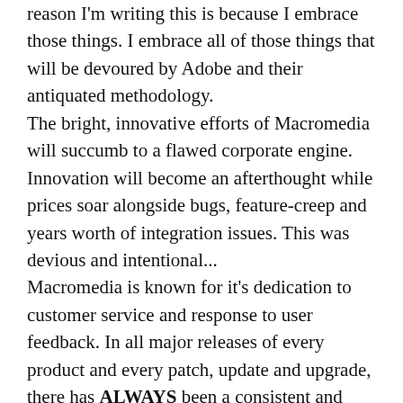reason I'm writing this is because I embrace those things. I embrace all of those things that will be devoured by Adobe and their antiquated methodology. The bright, innovative efforts of Macromedia will succumb to a flawed corporate engine. Innovation will become an afterthought while prices soar alongside bugs, feature-creep and years worth of integration issues. This was devious and intentional... Macromedia is known for it's dedication to customer service and response to user feedback. In all major releases of every product and every patch, update and upgrade, there has ALWAYS been a consistent and apparent effort on MACR's part to respond proactively with a positive